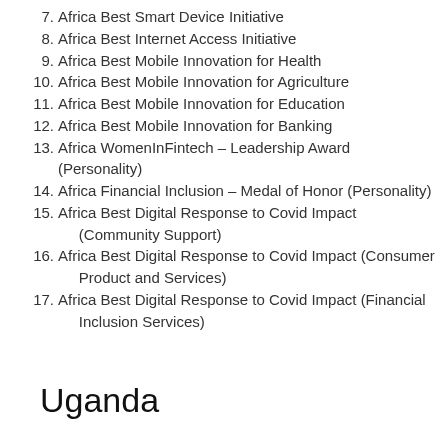7. Africa Best Smart Device Initiative
8. Africa Best Internet Access Initiative
9. Africa Best Mobile Innovation for Health
10. Africa Best Mobile Innovation for Agriculture
11. Africa Best Mobile Innovation for Education
12. Africa Best Mobile Innovation for Banking
13. Africa WomenInFintech – Leadership Award (Personality)
14. Africa Financial Inclusion – Medal of Honor (Personality)
15. Africa Best Digital Response to Covid Impact (Community Support)
16. Africa Best Digital Response to Covid Impact (Consumer Product and Services)
17. Africa Best Digital Response to Covid Impact (Financial Inclusion Services)
Uganda